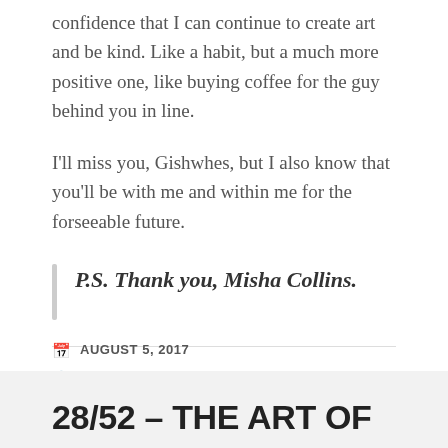confidence that I can continue to create art and be kind. Like a habit, but a much more positive one, like buying coffee for the guy behind you in line.
I'll miss you, Gishwhes, but I also know that you'll be with me and within me for the forseeable future.
P.S. Thank you, Misha Collins.
AUGUST 5, 2017
FANDOM, GISHWHES, MISHA COLLINS, REFLECTION, THE LAST GISHWHES, WEEK 31/17
LEAVE A COMMENT
28/52 – THE ART OF